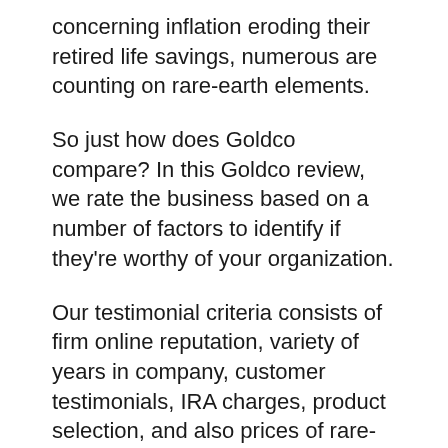concerning inflation eroding their retired life savings, numerous are counting on rare-earth elements.
So just how does Goldco compare? In this Goldco review, we rate the business based on a number of factors to identify if they're worthy of your organization.
Our testimonial criteria consists of firm online reputation, variety of years in company, customer testimonials, IRA charges, product selection, and also prices of rare-earth elements.
Below's the highlights from our Goldco testimonial: